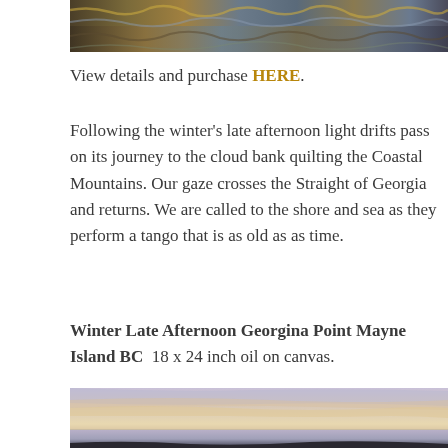[Figure (photo): Cropped top portion of a painting showing textured brushstrokes in earthy tones of brown, gold, blue and grey — likely a rocky or mountainous seascape.]
View details and purchase HERE.
Following the winter's late afternoon light drifts pass on its journey to the cloud bank quilting the Coastal Mountains. Our gaze crosses the Straight of Georgia and returns. We are called to the shore and sea as they perform a tango that is as old as as time.
Winter Late Afternoon Georgina Point Mayne Island BC  18 x 24 inch oil on canvas.
[Figure (photo): Cropped bottom portion of a painting showing a winter sunset coastal scene with soft lavender, peach and gold tones in the sky and sea, with a dark shoreline at the bottom.]